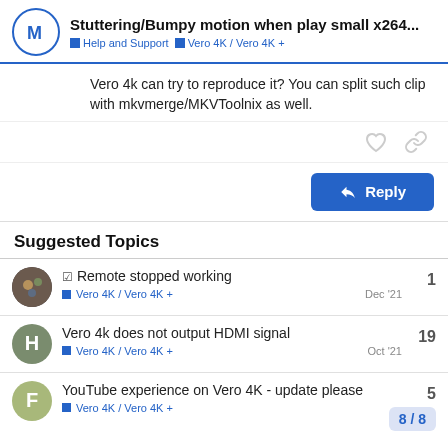Stuttering/Bumpy motion when play small x264... | Help and Support | Vero 4K / Vero 4K+
Vero 4k can try to reproduce it? You can split such clip with mkvmerge/MKVToolnix as well.
Suggested Topics
Remote stopped working | Vero 4K / Vero 4K+ | 1 | Dec '21
Vero 4k does not output HDMI signal | Vero 4K / Vero 4K+ | 19 | Oct '21
YouTube experience on Vero 4K - update please | Vero 4K / Vero 4K+ | 5 | 8/8